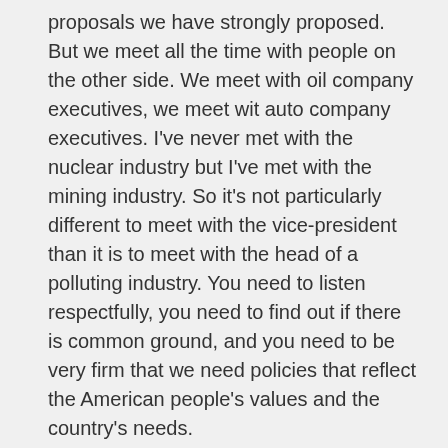proposals we have strongly proposed. But we meet all the time with people on the other side. We meet with oil company executives, we meet wit auto company executives. I've never met with the nuclear industry but I've met with the mining industry. So it's not particularly different to meet with the vice-president than it is to meet with the head of a polluting industry. You need to listen respectfully, you need to find out if there is common ground, and you need to be very firm that we need policies that reflect the American people's values and the country's needs.
TOOMEY: Carl Pope is executive director of the Sierra Club. Thanks for taking some time today with us.
POPE: Thanks. Bye-bye.
(Music)